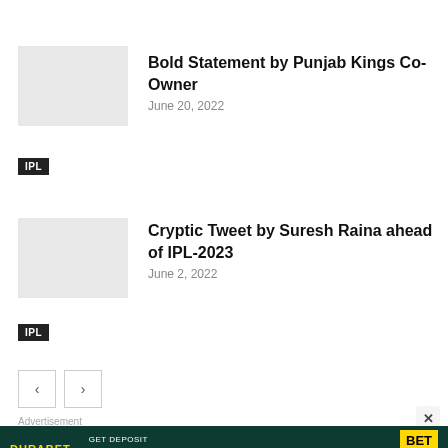[Figure (other): Thumbnail image placeholder for Punjab Kings article]
Bold Statement by Punjab Kings Co-Owner
June 20, 2022
IPL
[Figure (other): Thumbnail image placeholder for Suresh Raina article]
Cryptic Tweet by Suresh Raina ahead of IPL-2023
June 2, 2022
IPL
Advertisement
[Figure (other): Durabet advertisement banner - GET DEPOSIT BONUS 10% BET NOW www.durabet.com +91 8976362013]